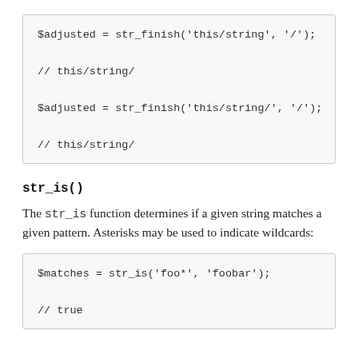[Figure (other): Code block showing str_finish function examples with output comments]
str_is()
The str_is function determines if a given string matches a given pattern. Asterisks may be used to indicate wildcards:
[Figure (other): Code block showing str_is function example with output comment]